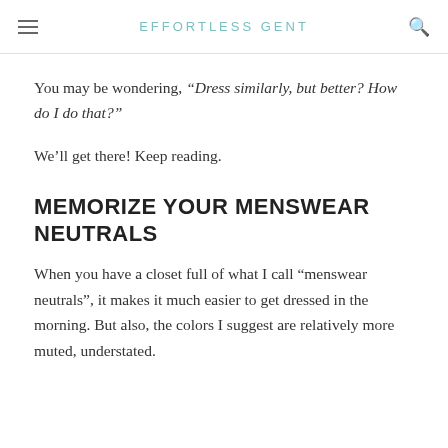EFFORTLESS GENT
You may be wondering, “Dress similarly, but better? How do I do that?”
We’ll get there! Keep reading.
MEMORIZE YOUR MENSWEAR NEUTRALS
When you have a closet full of what I call “menswear neutrals”, it makes it much easier to get dressed in the morning. But also, the colors I suggest are relatively more muted, understated.